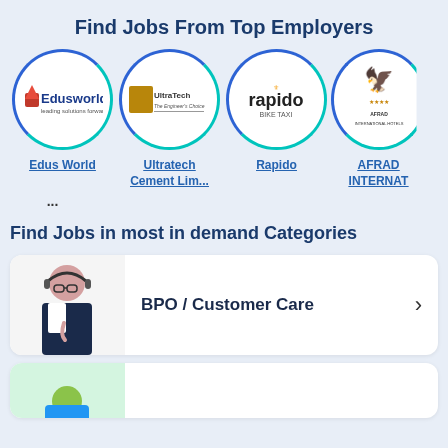Find Jobs From Top Employers
[Figure (logo): Edus World circular logo with blue border]
[Figure (logo): Ultratech Cement circular logo with blue border]
[Figure (logo): Rapido bike taxi circular logo with blue border]
[Figure (logo): AFRAD International Hotels circular logo partially visible]
Edus World
Ultratech Cement Lim...
Rapido
AFRAD INTERNAT...
...
Find Jobs in most in demand Categories
[Figure (photo): Woman with headset - BPO Customer Care category]
BPO / Customer Care
[Figure (photo): Person - second job category partially visible]